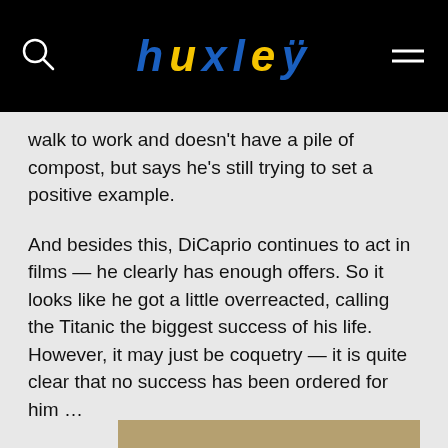huxleÿ
walk to work and doesn't have a pile of compost, but says he's still trying to set a positive example.
And besides this, DiCaprio continues to act in films — he clearly has enough offers. So it looks like he got a little overreacted, calling the Titanic the biggest success of his life. However, it may just be coquetry — it is quite clear that no success has been ordered for him …
All illustrations from open sources
By joining the Huxleÿ friends club, you support philosophy, science and art